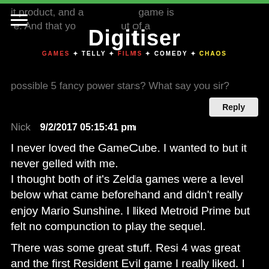Digitiser — GAMES * TELLY * FILMS * COMEDY * CHAOS
it product, and a [partially obscured] game is [partially obscured]. And that yo[ur] [partially obscured] out of a possible 5 fancy power stars? What say you sir?
Reply
Nick   9/2/2017 05:15:41 pm
I never loved the GameCube. I wanted to but it never gelled with me.
I thought both of it's Zelda games were a level below what came beforehand and didn't really enjoy Mario Sunshine. I liked Metroid Prime but felt no compunction to play the sequel.
There was some great stuff. Resi 4 was great and the first Resident Evil game I really liked. I absolutely loved Ikaruga and became strangely attached to a